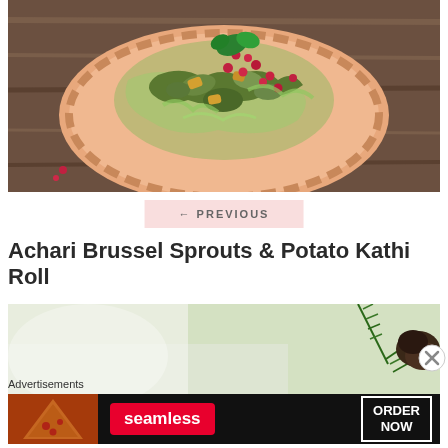[Figure (photo): Top-down photo of a flatbread/naan topped with cooked vegetables (Brussels sprouts, potatoes), pomegranate seeds, herbs, and green chutney drizzle on a wooden surface]
← PREVIOUS
Achari Brussel Sprouts & Potato Kathi Roll
[Figure (photo): Partial photo of a dish with green herbs/rosemary visible, blurred background]
Advertisements
[Figure (other): Seamless advertisement banner with pizza image on left, Seamless red logo in center, ORDER NOW button on right, dark background]